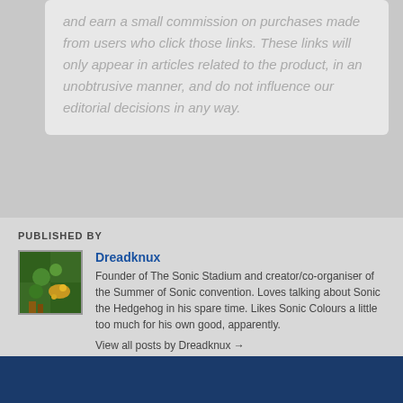and earn a small commission on purchases made from users who click those links. These links will only appear in articles related to the product, in an unobtrusive manner, and do not influence our editorial decisions in any way.
PUBLISHED BY
Dreadknux
Founder of The Sonic Stadium and creator/co-organiser of the Summer of Sonic convention. Loves talking about Sonic the Hedgehog in his spare time. Likes Sonic Colours a little too much for his own good, apparently.
View all posts by Dreadknux →